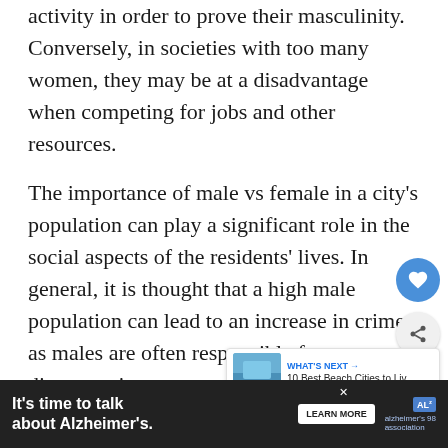activity in order to prove their masculinity. Conversely, in societies with too many women, they may be at a disadvantage when competing for jobs and other resources.
The importance of male vs female in a city's population can play a significant role in the social aspects of the residents' lives. In general, it is thought that a high male population can lead to an increase in crime, as males are often responsible for a disproportionate amount of urban crime. This is especially true whe... to violent crime, as males are more likely to e... le
[Figure (other): Social media buttons: heart (like) button in blue circle and share button in grey circle]
[Figure (other): What's Next card showing '10 Best Beach Cities to Liv...' with a beach city thumbnail image]
[Figure (other): Advertisement banner: dark background with text 'It's time to talk about Alzheimer's.' with LEARN MORE button and Alzheimer's Association logo]